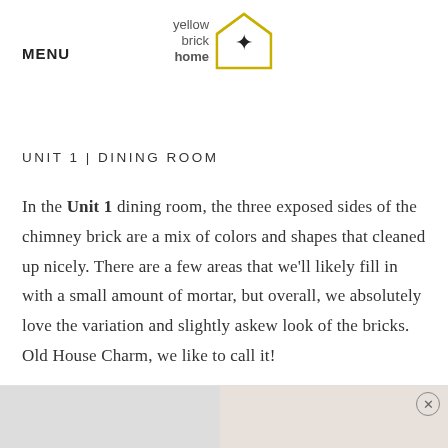MENU
[Figure (logo): Yellow Brick Home logo with house outline and star icon]
UNIT 1  |  DINING ROOM
In the Unit 1 dining room, the three exposed sides of the chimney brick are a mix of colors and shapes that cleaned up nicely. There are a few areas that we'll likely fill in with a small amount of mortar, but overall, we absolutely love the variation and slightly askew look of the bricks. Old House Charm, we like to call it!